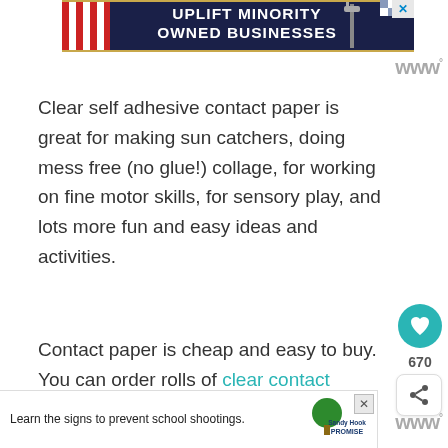[Figure (screenshot): Top banner advertisement: 'UPLIFT MINORITY OWNED BUSINESSES' on dark blue background with store graphics and close button]
Clear self adhesive contact paper is great for making sun catchers, doing mess free (no glue!) collage, for working on fine motor skills, for sensory play, and lots more fun and easy ideas and activities.
Contact paper is cheap and easy to buy. You can order rolls of clear contact online (affiliate link) or hit up your local dollar store
[Figure (screenshot): Bottom banner advertisement: 'Learn the signs to prevent school shootings.' with Sandy Hook Promise logo and tree graphic]